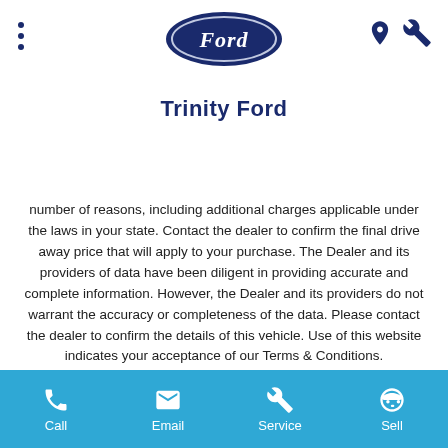Trinity Ford
Trinity Ford
number of reasons, including additional charges applicable under the laws in your state. Contact the dealer to confirm the final drive away price that will apply to your purchase. The Dealer and its providers of data have been diligent in providing accurate and complete information. However, the Dealer and its providers do not warrant the accuracy or completeness of the data. Please contact the dealer to confirm the details of this vehicle. Use of this website indicates your acceptance of our Terms & Conditions. The declared fuel consumption figures are determined by testing under standardised laboratory conditions to comply with ADR 81/02. Real world fuel consumption is influenced by many additional factors such as individual driving style, load, traffic and vehicle condition. The declared fuel consumption figure should only be used for the purpose of comparison amongst vehicles.
Call  Email  Service  Sell